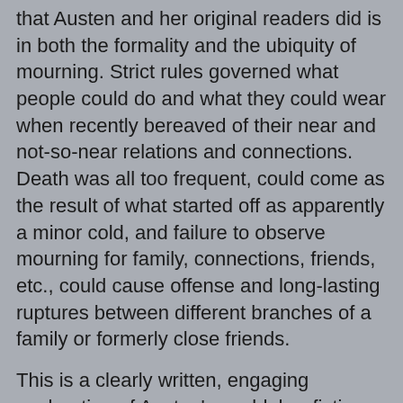that Austen and her original readers did is in both the formality and the ubiquity of mourning. Strict rules governed what people could do and what they could wear when recently bereaved of their near and not-so-near relations and connections. Death was all too frequent, could come as the result of what started off as apparently a minor cold, and failure to observe mourning for family, connections, friends, etc., could cause offense and long-lasting ruptures between different branches of a family or formerly close friends.
This is a clearly written, engaging exploration of Austen's world, her fiction, and of what a daring and even experimental writer she was, creating major innovations in story-telling that are with us today.
If you enjoy Austen and enjoy going "behind the scenes" to see what makes a novel work, this is a fascinating, rewarding read.
Highly recommended.
I received a free electronic galley of this book from the